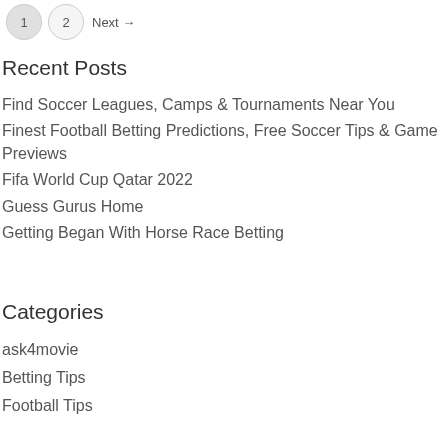1  2  Next →
Recent Posts
Find Soccer Leagues, Camps & Tournaments Near You
Finest Football Betting Predictions, Free Soccer Tips & Game Previews
Fifa World Cup Qatar 2022
Guess Gurus Home
Getting Began With Horse Race Betting
Categories
ask4movie
Betting Tips
Football Tips